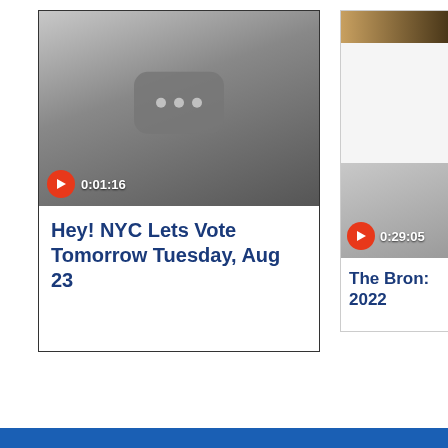[Figure (screenshot): Video thumbnail card showing a YouTube-style loading icon with three dots on a grey gradient background. Play button overlay shows duration 0:01:16. Title below reads: Hey! NYC Lets Vote Tomorrow Tuesday, Aug 23]
Hey! NYC Lets Vote Tomorrow Tuesday, Aug 23
[Figure (screenshot): Partially visible video card on right side showing a brown/orange top image strip, white space, then grey gradient thumbnail with play button showing duration 0:29:05. Title reads: The Bron: 2022]
The Bron: 2022